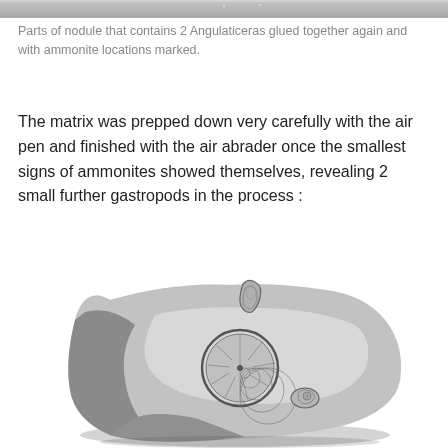[Figure (photo): Top portion of a black and white photo showing parts of a nodule containing Angulaticeras ammonites, glued together with ammonite locations marked.]
Parts of nodule that contains 2 Angulaticeras glued together again and with ammonite locations marked.
The matrix was prepped down very carefully with the air pen and finished with the air abrader once the smallest signs of ammonites showed themselves, revealing 2 small further gastropods in the process :
[Figure (photo): Black and white photograph of a rock nodule with ammonite and gastropod fossils visible on its surface. A large coiled ammonite is prominent in the center, with a smaller gastropod to the right and another fossil at the top.]